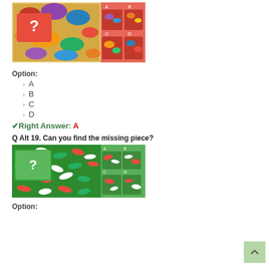[Figure (illustration): Puzzle image showing colorful candies/toys with a question mark panel on the left and four answer options A, B, C, D on the right grid]
Option:
> A
> B
> C
> D
✔ Right Answer: A
Q Alt 19. Can you find the missing piece?
[Figure (illustration): Puzzle image showing red and green capsule/pill shapes on green background with question mark panel and four answer options A, B, C, D]
Option: